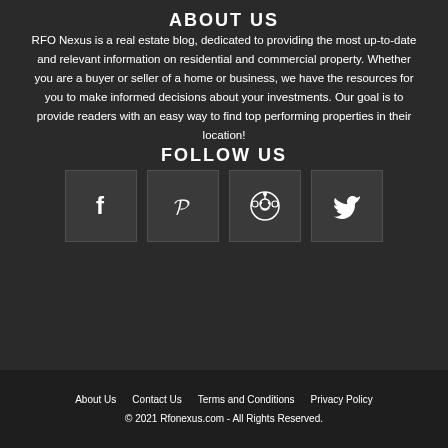ABOUT US
RFO Nexus is a real estate blog, dedicated to providing the most up-to-date and relevant information on residential and commercial property. Whether you are a buyer or seller of a home or business, we have the resources for you to make informed decisions about your investments. Our goal is to provide readers with an easy way to find top performing properties in their location!
FOLLOW US
[Figure (infographic): Four social media icon buttons in dark square boxes: Facebook (f), Pinterest (P), Reddit (alien logo), Twitter (bird logo)]
About Us   Contact Us   Terms and Conditions   Privacy Policy
© 2021 Rfonexus.com - All Rights Reserved.